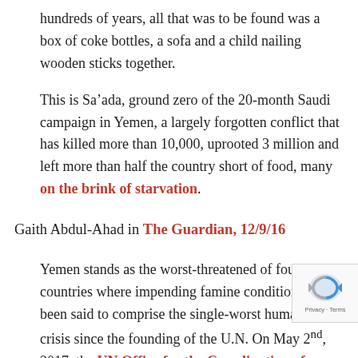hundreds of years, all that was to be found was a box of coke bottles, a sofa and a child nailing wooden sticks together.
This is Sa'ada, ground zero of the 20-month Saudi campaign in Yemen, a largely forgotten conflict that has killed more than 10,000, uprooted 3 million and left more than half the country short of food, many on the brink of starvation.
Gaith Abdul-Ahad in The Guardian, 12/9/16
Yemen stands as the worst-threatened of four countries where impending famine conditions have been said to comprise the single-worst humanitarian crisis since the founding of the U.N. On May 2nd, 2017, the UN Office for the Coordination of Humanitarian Affairs published a grim infographic detailing conditions in Yemen where 17 million Yemenis — or around